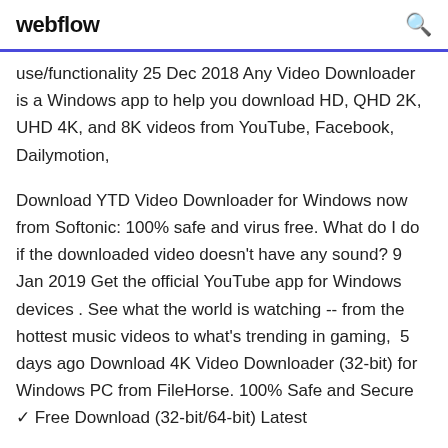webflow
use/functionality 25 Dec 2018 Any Video Downloader is a Windows app to help you download HD, QHD 2K, UHD 4K, and 8K videos from YouTube, Facebook, Dailymotion,
Download YTD Video Downloader for Windows now from Softonic: 100% safe and virus free. What do I do if the downloaded video doesn't have any sound? 9 Jan 2019 Get the official YouTube app for Windows devices . See what the world is watching -- from the hottest music videos to what's trending in gaming,  5 days ago Download 4K Video Downloader (32-bit) for Windows PC from FileHorse. 100% Safe and Secure ✓ Free Download (32-bit/64-bit) Latest